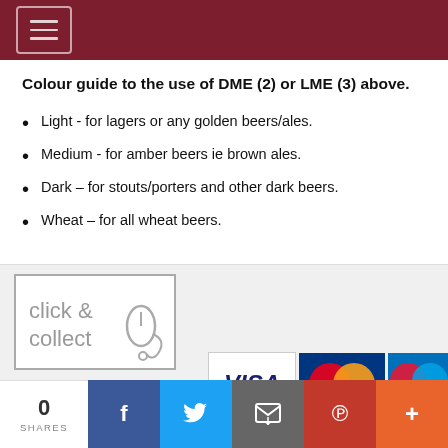Colour guide to the use of DME (2) or LME (3) above.
Light - for lagers or any golden beers/ales.
Medium - for amber beers ie brown ales.
Dark – for stouts/porters and other dark beers.
Wheat – for all wheat beers.
[Figure (logo): Click & Collect logo with mouse icon]
[Figure (logo): Payment method logos: VISA, MasterCard, Maestro]
0 SHARES | Facebook | Twitter | Email | Pinterest | More